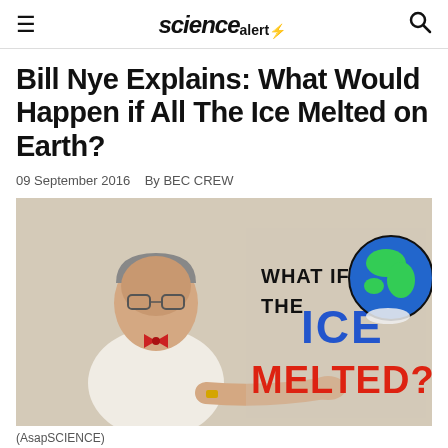science alert
Bill Nye Explains: What Would Happen if All The Ice Melted on Earth?
09 September 2016   By BEC CREW
[Figure (photo): Bill Nye standing in a white shirt and red bow tie, next to illustrated text reading 'WHAT IF ALL THE ICE MELTED?' with a hand-drawn globe]
(AsapSCIENCE)